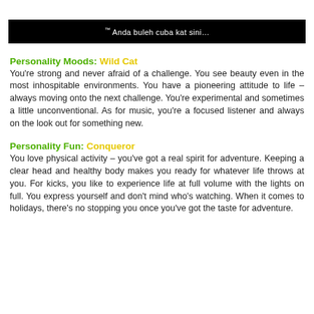[Figure (other): Black banner with white text reading: ™ Anda buleh cuba kat sini…]
Personality Moods: Wild Cat
You're strong and never afraid of a challenge. You see beauty even in the most inhospitable environments. You have a pioneering attitude to life – always moving onto the next challenge. You're experimental and sometimes a little unconventional. As for music, you're a focused listener and always on the look out for something new.
Personality Fun: Conqueror
You love physical activity – you've got a real spirit for adventure. Keeping a clear head and healthy body makes you ready for whatever life throws at you. For kicks, you like to experience life at full volume with the lights on full. You express yourself and don't mind who's watching. When it comes to holidays, there's no stopping you once you've got the taste for adventure.